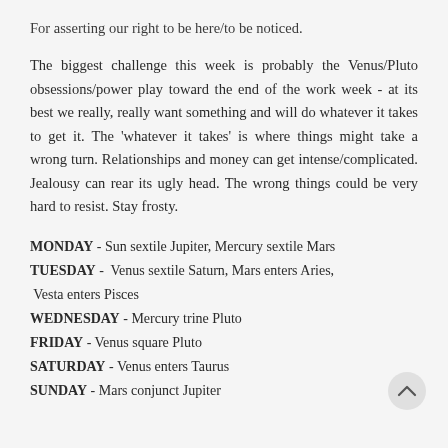For asserting our right to be here/to be noticed.
The biggest challenge this week is probably the Venus/Pluto obsessions/power play toward the end of the work week - at its best we really, really want something and will do whatever it takes to get it. The 'whatever it takes' is where things might take a wrong turn. Relationships and money can get intense/complicated. Jealousy can rear its ugly head. The wrong things could be very hard to resist. Stay frosty.
MONDAY - Sun sextile Jupiter, Mercury sextile Mars
TUESDAY - Venus sextile Saturn, Mars enters Aries, Vesta enters Pisces
WEDNESDAY - Mercury trine Pluto
FRIDAY - Venus square Pluto
SATURDAY - Venus enters Taurus
SUNDAY - Mars conjunct Jupiter